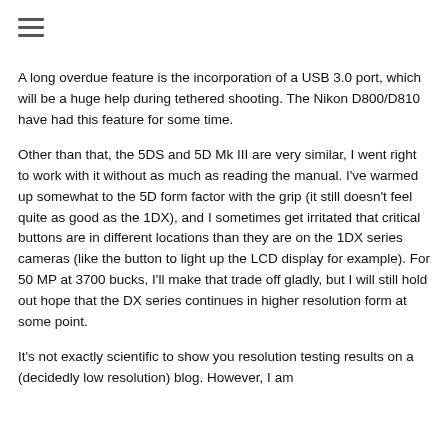≡
A long overdue feature is the incorporation of a USB 3.0 port, which will be a huge help during tethered shooting. The Nikon D800/D810 have had this feature for some time.
Other than that, the 5DS and 5D Mk III are very similar, I went right to work with it without as much as reading the manual. I've warmed up somewhat to the 5D form factor with the grip (it still doesn't feel quite as good as the 1DX), and I sometimes get irritated that critical buttons are in different locations than they are on the 1DX series cameras (like the button to light up the LCD display for example). For 50 MP at 3700 bucks, I'll make that trade off gladly, but I will still hold out hope that the DX series continues in higher resolution form at some point.
It's not exactly scientific to show you resolution testing results on a (decidedly low resolution) blog. However, I am